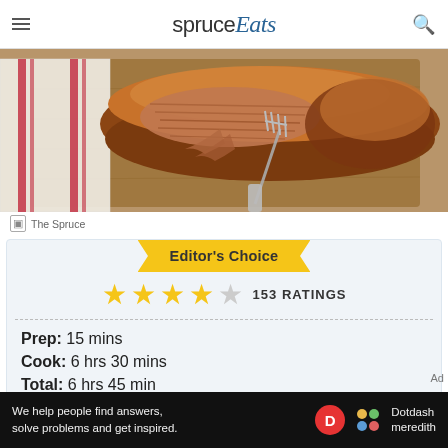spruce Eats
[Figure (photo): Roasted pork loin on a wooden cutting board with a fork inserted, showing pulled/shredded meat texture, with a red-striped kitchen towel in background]
The Spruce
Editor's Choice
153 RATINGS
Prep: 15 mins
Cook: 6 hrs 30 mins
Total: 6 hrs 45 mins
We help people find answers, solve problems and get inspired.